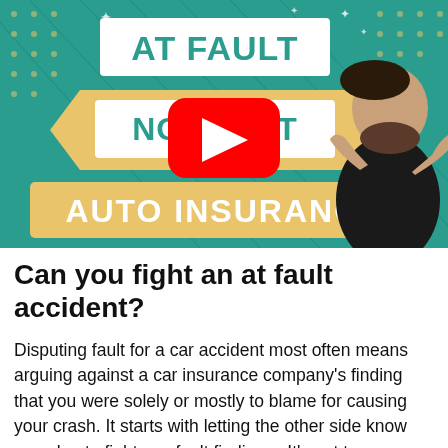[Figure (screenshot): YouTube video thumbnail for 'At Fault No Fault Auto Insurance' featuring illustrated graphic of a man with text banners saying AT FAULT, NO FAULT, AUTO INSURANCE with a YouTube play button overlay on a teal/gold background.]
Can you fight an at fault accident?
Disputing fault for a car accident most often means arguing against a car insurance company's finding that you were solely or mostly to blame for causing your crash. It starts with letting the other side know you plan to fight any fault finding… It's not too